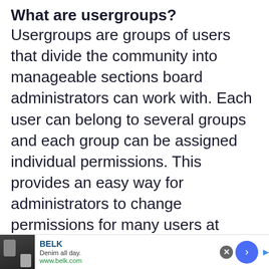What are usergroups?
Usergroups are groups of users that divide the community into manageable sections board administrators can work with. Each user can belong to several groups and each group can be assigned individual permissions. This provides an easy way for administrators to change permissions for many users at once, such as changing moderator permissions or
[Figure (other): Advertisement banner for BELK clothing store showing a model in denim clothing with text 'BELK', 'Denim all day.', 'www.belk.com' and navigation arrow button]